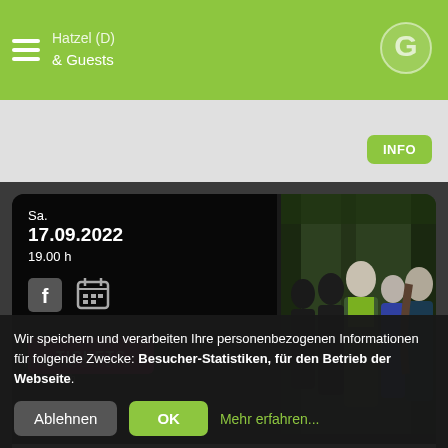Hatzel (D) & Guests
[Figure (logo): Green circle G logo]
INFO
Sa.
17.09.2022
19.00 h
[Figure (photo): Band photo: five people standing outdoors in a forest setting]
TICKETS
Rock
Loft presents: DEL AMITRI
Wir speichern und verarbeiten Ihre personenbezogenen Informationen für folgende Zwecke: Besucher-Statistiken, für den Betrieb der Webseite.
Ablehnen
OK
Mehr erfahren...